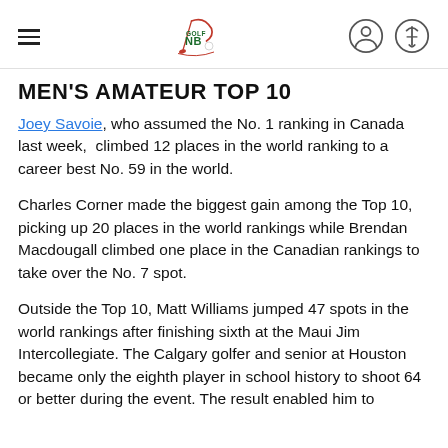Golf NB — Men's Amateur Top 10
MEN'S AMATEUR TOP 10
Joey Savoie, who assumed the No. 1 ranking in Canada last week, climbed 12 places in the world ranking to a career best No. 59 in the world.
Charles Corner made the biggest gain among the Top 10, picking up 20 places in the world rankings while Brendan Macdougall climbed one place in the Canadian rankings to take over the No. 7 spot.
Outside the Top 10, Matt Williams jumped 47 spots in the world rankings after finishing sixth at the Maui Jim Intercollegiate. The Calgary golfer and senior at Houston became only the eighth player in school history to shoot 64 or better during the event. The result enabled him to